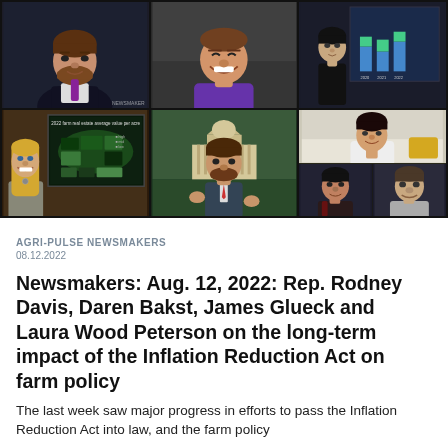[Figure (photo): A 2x3 grid of video call panels showing multiple people including a man with beard in dark suit, a smiling man, a woman in black outfit standing near a bar chart on screen, a woman with blonde hair standing near a US map showing 2022 farm real estate average value per acre, a man in suit near US Capitol building background, a woman, a man in dark jacket, and a man in light shirt.]
AGRI-PULSE NEWSMAKERS
08.12.2022
Newsmakers: Aug. 12, 2022: Rep. Rodney Davis, Daren Bakst, James Glueck and Laura Wood Peterson on the long-term impact of the Inflation Reduction Act on farm policy
The last week saw major progress in efforts to pass the Inflation Reduction Act into law, and the farm policy